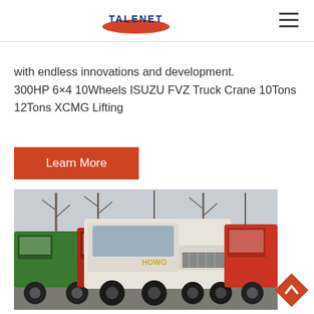TALENET
with endless innovations and development. 300HP 6×4 10Wheels ISUZU FVZ Truck Crane 10Tons 12Tons XCMG Lifting
Learn More
[Figure (photo): Multiple heavy trucks parked including a white HOWO tractor head in the center, a green truck on the left, and a red truck on the right, with bare trees in the background.]